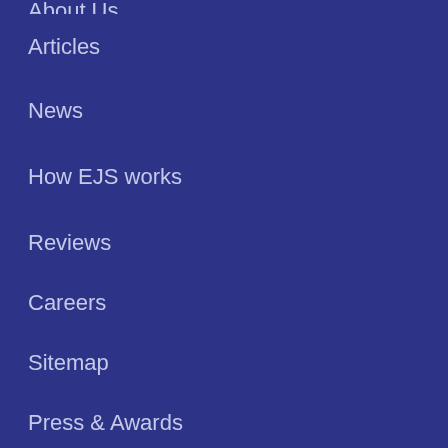About Us
Articles
News
How EJS works
Reviews
Careers
Sitemap
Press & Awards
Job Seekers
US based Jobs
Canada based Jobs
Company Directory
Hiring Events & Job Fairs